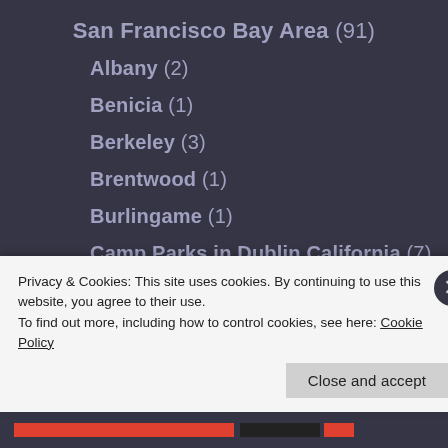San Francisco Bay Area (91)
Albany (2)
Benicia (1)
Berkeley (3)
Brentwood (1)
Burlingame (1)
Camp Parks in Dublin California (7)
Camp Stoneman Pittsburg CA (7)
Daly City (1)
Privacy & Cookies: This site uses cookies. By continuing to use this website, you agree to their use.
To find out more, including how to control cookies, see here: Cookie Policy
Close and accept